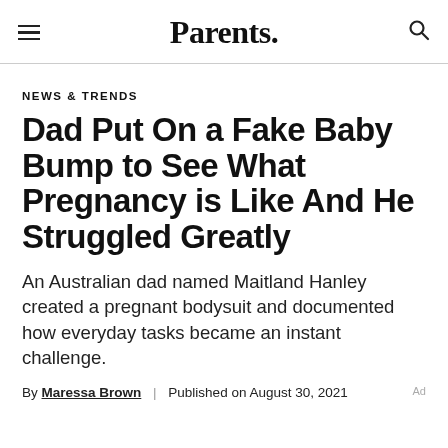Parents.
NEWS & TRENDS
Dad Put On a Fake Baby Bump to See What Pregnancy is Like And He Struggled Greatly
An Australian dad named Maitland Hanley created a pregnant bodysuit and documented how everyday tasks became an instant challenge.
By Maressa Brown | Published on August 30, 2021